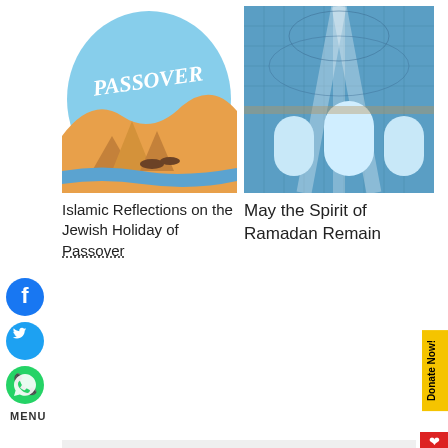[Figure (illustration): Passover holiday illustration with pyramids, desert, camels, and 'PASSOVER' text on a blue/orange background]
[Figure (photo): Interior of an ornate Islamic mosque with blue tile mosaic ceiling and arched windows with light streaming through]
Islamic Reflections on the Jewish Holiday of Passover
May the Spirit of Ramadan Remain
[Figure (logo): Facebook social media icon - blue circle with white f]
[Figure (logo): Twitter social media icon - blue circle with white bird]
[Figure (logo): WhatsApp social media icon - green circle with white phone]
MENU
+ COMMENTS DISCLAIMER & RULES OF ENGAGEMENT
Comments
Community
Login
❤ Favorite
Sort by Best
[Figure (logo): Disqus commenting platform logo - blue circle with D]
Start the discussion...